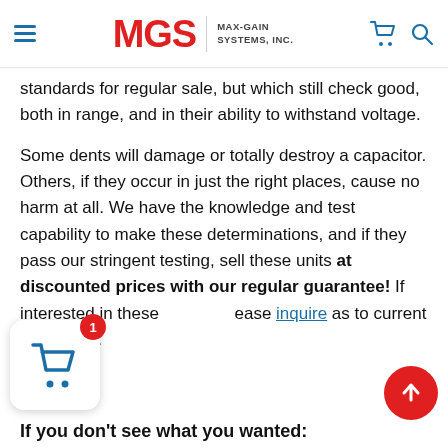MGS MAX-GAIN SYSTEMS, INC.
standards for regular sale, but which still check good, both in range, and in their ability to withstand voltage.
Some dents will damage or totally destroy a capacitor. Others, if they occur in just the right places, cause no harm at all. We have the knowledge and test capability to make these determinations, and if they pass our stringent testing, sell these units at discounted prices with our regular guarantee! If interested in these please inquire as to current availability.
If you don't see what you wanted: